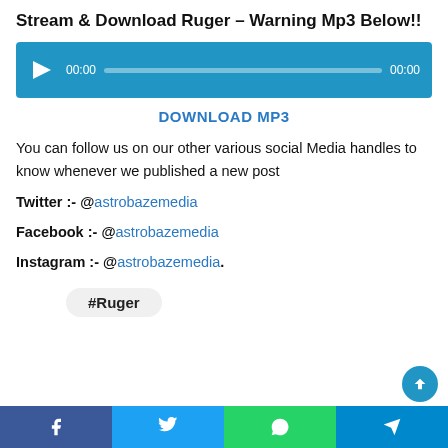Stream & Download Ruger – Warning Mp3 Below!!
[Figure (other): Audio player widget with blue background, play button, progress bar, 00:00 start and 00:00 end time display]
DOWNLOAD MP3
You can follow us on our other various social Media handles to know whenever we published a new post
Twitter :- @astrobazemedia
Facebook :- @astrobazemedia
Instagram :- @astrobazemedia.
#Ruger